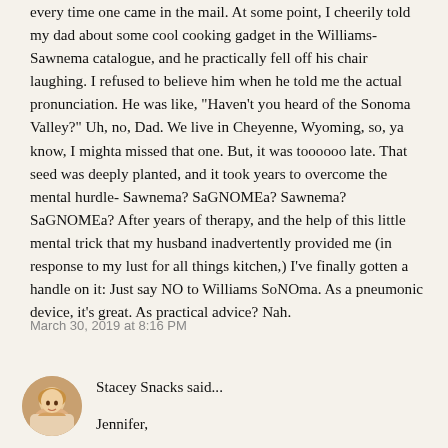every time one came in the mail. At some point, I cheerily told my dad about some cool cooking gadget in the Williams-Sawnema catalogue, and he practically fell off his chair laughing. I refused to believe him when he told me the actual pronunciation. He was like, "Haven't you heard of the Sonoma Valley?" Uh, no, Dad. We live in Cheyenne, Wyoming, so, ya know, I mighta missed that one. But, it was toooooo late. That seed was deeply planted, and it took years to overcome the mental hurdle- Sawnema? SaGNOMEa? Sawnema? SaGNOMEa? After years of therapy, and the help of this little mental trick that my husband inadvertently provided me (in response to my lust for all things kitchen,) I've finally gotten a handle on it: Just say NO to Williams SoNOma. As a pneumonic device, it's great. As practical advice? Nah.
March 30, 2019 at 8:16 PM
[Figure (photo): Small circular avatar photo of a woman with blonde hair]
Stacey Snacks said...
Jennifer,